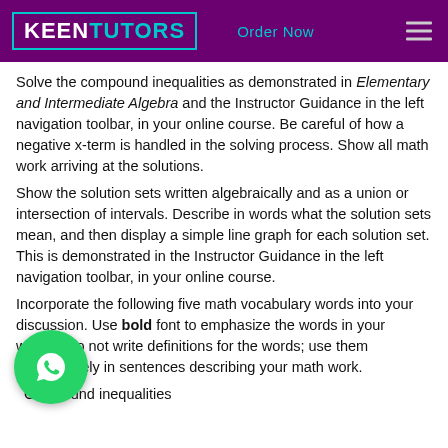KEENTUTORS — Order Now
Solve the compound inequalities as demonstrated in Elementary and Intermediate Algebra and the Instructor Guidance in the left navigation toolbar, in your online course. Be careful of how a negative x-term is handled in the solving process. Show all math work arriving at the solutions.
Show the solution sets written algebraically and as a union or intersection of intervals. Describe in words what the solution sets mean, and then display a simple line graph for each solution set. This is demonstrated in the Instructor Guidance in the left navigation toolbar, in your online course.
Incorporate the following five math vocabulary words into your discussion. Use bold font to emphasize the words in your writing. Do not write definitions for the words; use them appropriately in sentences describing your math work.
Compound inequalities
Or
Intersection